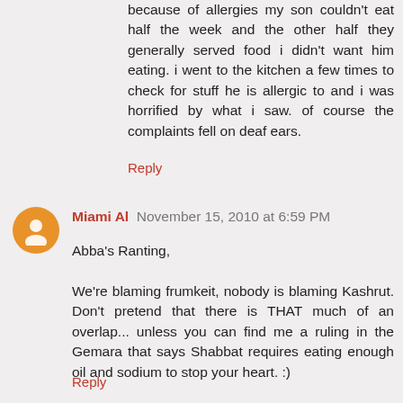because of allergies my son couldn't eat half the week and the other half they generally served food i didn't want him eating. i went to the kitchen a few times to check for stuff he is allergic to and i was horrified by what i saw. of course the complaints fell on deaf ears.
Reply
Miami Al  November 15, 2010 at 6:59 PM
Abba's Ranting,

We're blaming frumkeit, nobody is blaming Kashrut. Don't pretend that there is THAT much of an overlap... unless you can find me a ruling in the Gemara that says Shabbat requires eating enough oil and sodium to stop your heart. :)

Regarding Yeshiva kids... seriously, compare the kids at the local Yeshiva to the local secular Jewish kids in the neighborhood, there is a WORLD of difference.
Reply